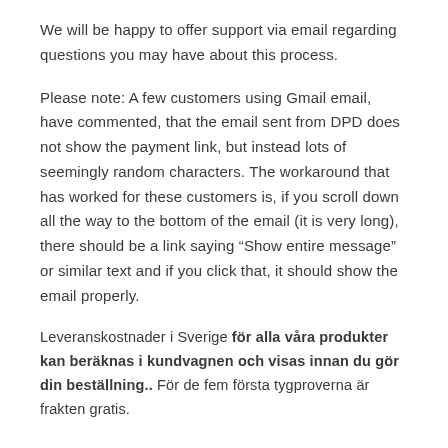We will be happy to offer support via email regarding questions you may have about this process.
Please note: A few customers using Gmail email, have commented, that the email sent from DPD does not show the payment link, but instead lots of seemingly random characters. The workaround that has worked for these customers is, if you scroll down all the way to the bottom of the email (it is very long), there should be a link saying “Show entire message” or similar text and if you click that, it should show the email properly.
Leveranskostnader i Sverige för alla våra produkter kan beräknas i kundvagnen och visas innan du gör din beställning.. För de fem första tygproverna är frakten gratis.